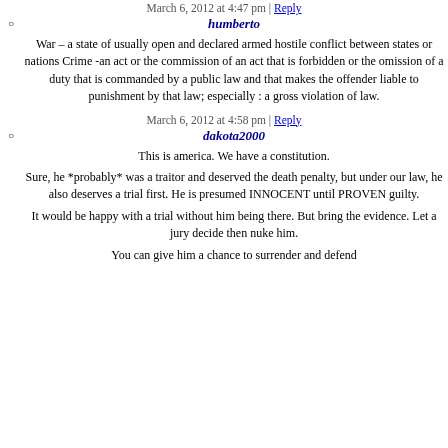March 6, 2012 at 4:47 pm | Reply
humberto
War – a state of usually open and declared armed hostile conflict between states or nations Crime -an act or the commission of an act that is forbidden or the omission of a duty that is commanded by a public law and that makes the offender liable to punishment by that law; especially : a gross violation of law.
March 6, 2012 at 4:58 pm | Reply
dakota2000
This is america. We have a constitution.
Sure, he *probably* was a traitor and deserved the death penalty, but under our law, he also deserves a trial first. He is presumed INNOCENT until PROVEN guilty.
It would be happy with a trial without him being there. But bring the evidence. Let a jury decide then nuke him.
You can give him a chance to surrender and defend